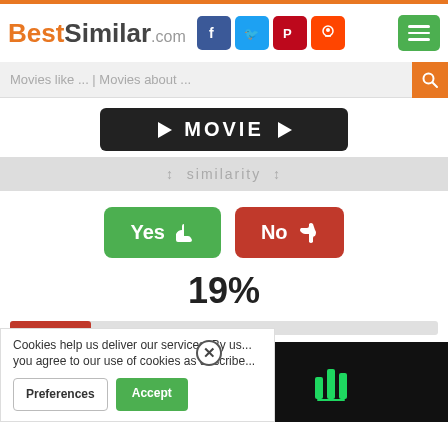BestSimilar.com
Movies like ... | Movies about ...
[Figure (screenshot): Dark button with MOVIE text and play arrows]
↕ similarity ↕
Yes 👍  No 👎
19%
[Figure (infographic): Progress bar showing 19% filled in red-orange]
Cookies help us deliver our services. By us... you agree to our use of cookies as describe...
Preferences  Accept